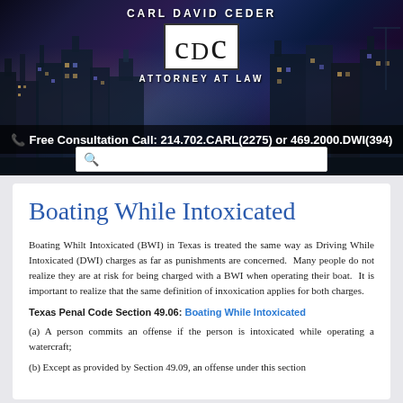[Figure (logo): Carl David Ceder Attorney at Law CDC logo with city skyline background]
Free Consultation Call: 214.702.CARL(2275) or 469.2000.DWI(394)
[Figure (other): Search bar with magnifying glass icon]
Boating While Intoxicated
Boating Whilt Intoxicated (BWI) in Texas is treated the same way as Driving While Intoxicated (DWI) charges as far as punishments are concerned.  Many people do not realize they are at risk for being charged with a BWI when operating their boat.  It is important to realize that the same definition of inxoxication applies for both charges.
Texas Penal Code Section 49.06: Boating While Intoxicated
(a) A person commits an offense if the person is intoxicated while operating a watercraft;
(b) Except as provided by Section 49.09, an offense under this section